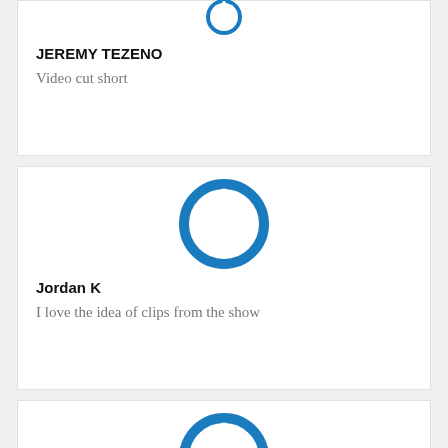[Figure (logo): Blue power button circle icon for Jeremy Tezeno (partial, cropped at top)]
JEREMY TEZENO
Video cut short
[Figure (logo): Blue power button circle icon for Jordan K]
Jordan K
I love the idea of clips from the show
[Figure (logo): Blue power button circle icon for Glenn John]
Glenn John